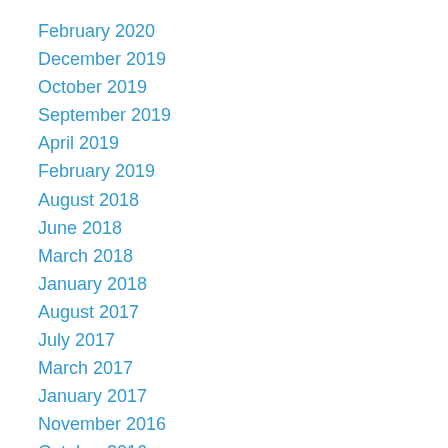February 2020
December 2019
October 2019
September 2019
April 2019
February 2019
August 2018
June 2018
March 2018
January 2018
August 2017
July 2017
March 2017
January 2017
November 2016
October 2016
May 2016
March 2016
February 2016
January 2016